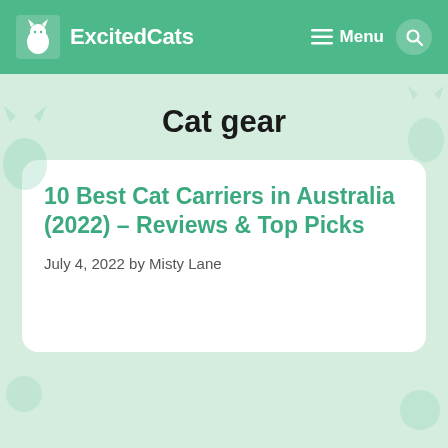ExcitedCats — Menu (navigation bar)
Cat gear
10 Best Cat Carriers in Australia (2022) – Reviews & Top Picks
July 4, 2022 by Misty Lane